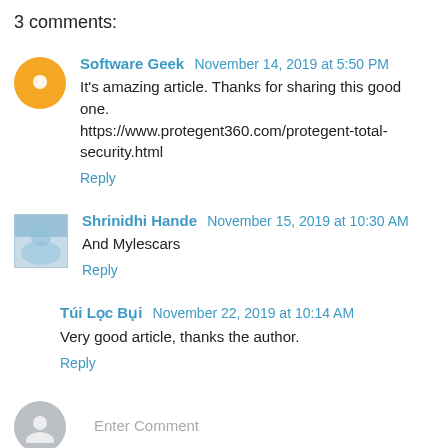3 comments:
Software Geek  November 14, 2019 at 5:50 PM
It's amazing article. Thanks for sharing this good one.
https://www.protegent360.com/protegent-total-security.html
Reply
Shrinidhi Hande  November 15, 2019 at 10:30 AM
And Mylescars
Reply
Túi Lọc Bụi  November 22, 2019 at 10:14 AM
Very good article, thanks the author.
Reply
Enter Comment